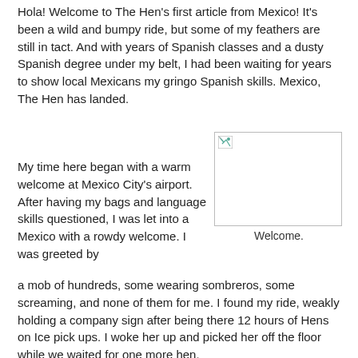Hola! Welcome to The Hen's first article from Mexico! It's been a wild and bumpy ride, but some of my feathers are still in tact. And with years of Spanish classes and a dusty Spanish degree under my belt, I had been waiting for years to show local Mexicans my gringo Spanish skills. Mexico, The Hen has landed.
My time here began with a warm welcome at Mexico City's airport. After having my bags and language skills questioned, I was let into a Mexico with a rowdy welcome. I was greeted by a mob of hundreds, some wearing sombreros, some screaming, and none of them for me. I found my ride, weakly holding a company sign after being there 12 hours of Hens on Ice pick ups. I woke her up and picked her off the floor while we waited for one more hen.
[Figure (photo): A placeholder image box with a small broken image icon in the top-left corner.]
Welcome.